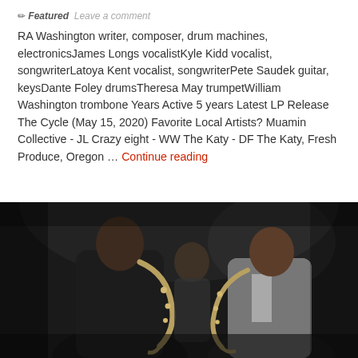✏ Featured  Leave a comment
RA Washington writer, composer, drum machines, electronicsJames Longs vocalistKyle Kidd vocalist, songwriterLatoya Kent vocalist, songwriterPete Saudek guitar, keysDante Foley drumsTheresa May trumpetWilliam Washington trombone Years Active 5 years Latest LP Release The Cycle (May 15, 2020) Favorite Local Artists? Muamin Collective - JL Crazy eight - WW The Katy - DF The Katy, Fresh Produce, Oregon … Continue reading
[Figure (photo): Black and white photo of two saxophone players performing on stage, with a third musician visible in the background]